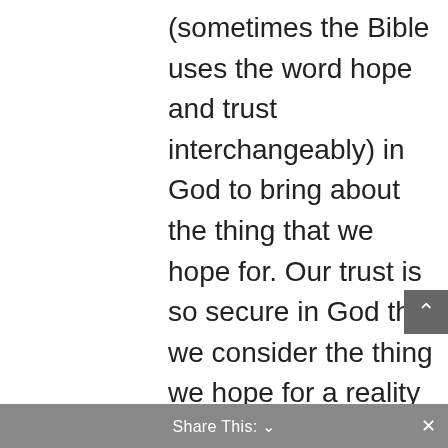(sometimes the Bible uses the word hope and trust interchangeably) in God to bring about the thing that we hope for. Our trust is so secure in God that we consider the thing we hope for a reality that has not yet manifested. Our trust is so secure in God that we believe that he will do what we ask and that our hopes will not be deferred, rather manifested. Faith (trust or hope) is in God to fulfill our hope (vision or
Share This: